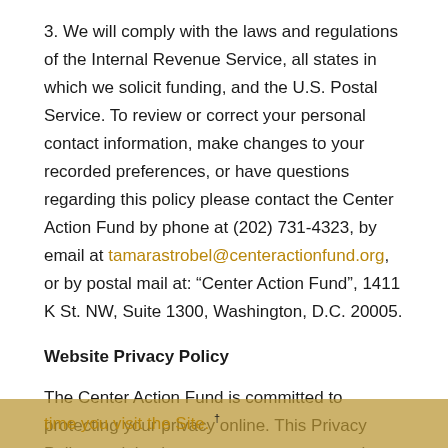3. We will comply with the laws and regulations of the Internal Revenue Service, all states in which we solicit funding, and the U.S. Postal Service. To review or correct your personal contact information, make changes to your recorded preferences, or have questions regarding this policy please contact the Center Action Fund by phone at (202) 731-4323, by email at tamarastrobel@centeractionfund.org, or by postal mail at: “Center Action Fund”, 1411 K St. NW, Suite 1300, Washington, D.C. 20005.
Website Privacy Policy
The Center Action Fund is committed to protecting your privacy online. This Privacy Policy explains how we treat your personal information when you visit this website (the “Site”).. You are advised to consult the “Privacy” link on the Site each time you visit the Site.